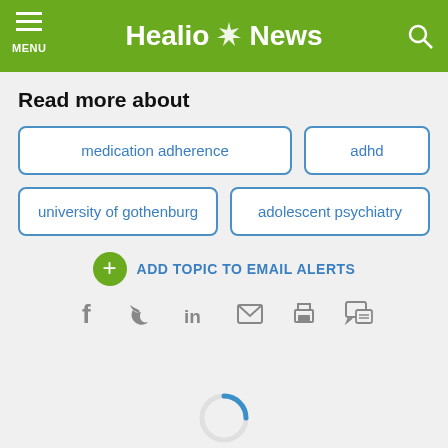Healio News
Read more about
medication adherence
adhd
university of gothenburg
adolescent psychiatry
ADD TOPIC TO EMAIL ALERTS
[Figure (infographic): Social sharing icons: Facebook, Twitter, LinkedIn, Email, Print, Comment]
[Figure (infographic): Loading spinner (blue arc)]